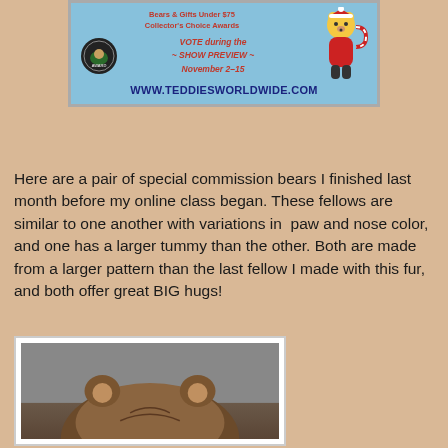[Figure (illustration): Advertisement banner for Teddies Worldwide with blue background, showing text about bears and gifts, Collector's Choice Awards logo, vote during show preview November 2-15, URL www.teddiesworldwide.com, and a cartoon bear in Santa outfit with candy cane]
Here are a pair of special commission bears I finished last month before my online class began. These fellows are similar to one another with variations in  paw and nose color, and one has a larger tummy than the other. Both are made from a larger pattern than the last fellow I made with this fur, and both offer great BIG hugs!
[Figure (photo): Close-up photo of a teddy bear's head showing brown fur and ears against a grey background]